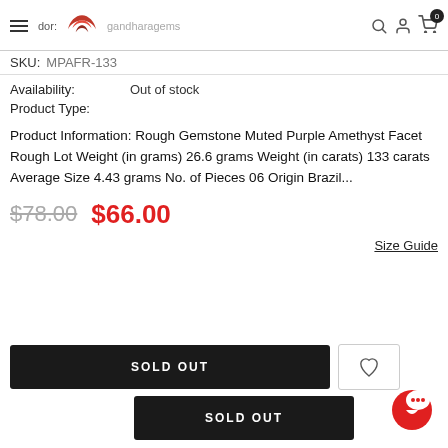Vendor: gandharagems
SKU: MPAFR-133
Availability: Out of stock
Product Type:
Product Information: Rough Gemstone Muted Purple Amethyst Facet Rough Lot Weight (in grams) 26.6 grams Weight (in carats) 133 carats Average Size 4.43 grams No. of Pieces 06 Origin Brazil...
$78.00 $66.00
Size Guide
SOLD OUT
SOLD OUT